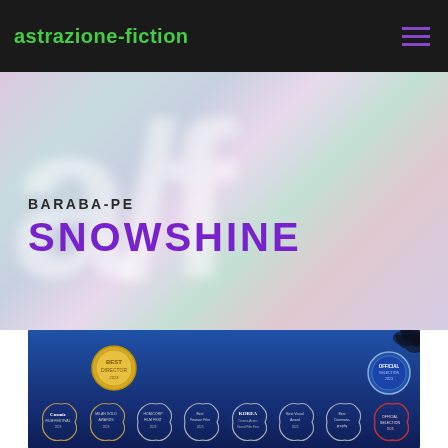astrazione-fiction
BARABA-PE
SNOWSHINE
[Figure (photo): Movie poster for SNOWSHINE with dark blue sky background, gold medal award badge top left, dark bird silhouette top right, and multiple film festival award laurels along the bottom including Cosmic Film Festival, Milan Gold Awards, Homicorp Film Festival, Best Feature Film, Korea Cinema Actors Grand Film Festival, Best Visual Award, Best Cinematography, and others. Some badges are silver/white laurels, one red badge bottom right.]